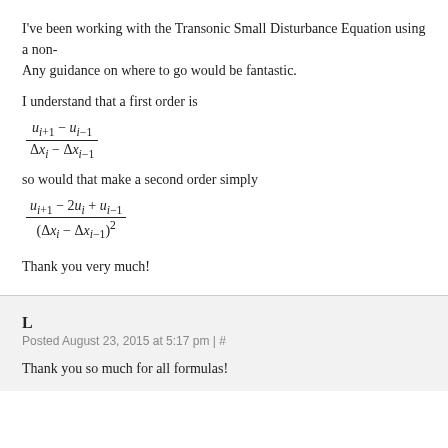I've been working with the Transonic Small Disturbance Equation using a non- Any guidance on where to go would be fantastic.
I understand that a first order is
so would that make a second order simply
Thank you very much!
L
Posted August 23, 2015 at 5:17 pm | #
Thank you so much for all formulas!